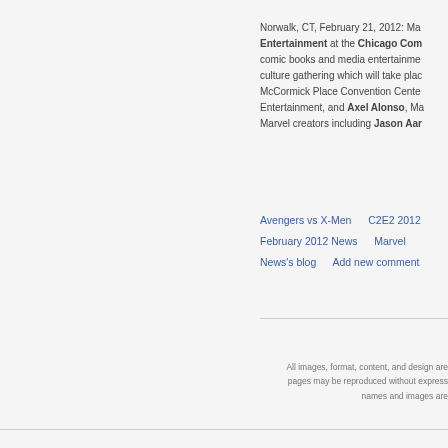Norwalk, CT, February 21, 2012: Ma... Entertainment at the Chicago Com... comic books and media entertainment... culture gathering which will take plac... McCormick Place Convention Cente... Entertainment, and Axel Alonso, Ma... Marvel creators including Jason Aar...
Avengers vs X-Men
C2E2 2012
February 2012 News
Marvel
News's blog
Add new comment
All images, format, content, and design are... pages may be reproduced without express... names and images are...